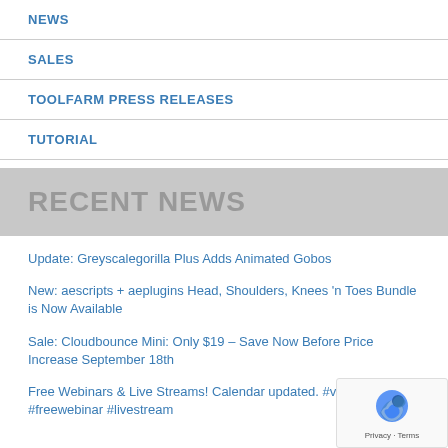NEWS
SALES
TOOLFARM PRESS RELEASES
TUTORIAL
RECENT NEWS
Update: Greyscalegorilla Plus Adds Animated Gobos
New: aescripts + aeplugins Head, Shoulders, Knees 'n Toes Bundle is Now Available
Sale: Cloudbounce Mini: Only $19 – Save Now Before Price Increase September 18th
Free Webinars & Live Streams! Calendar updated. #vfx #freewebinar #livestream